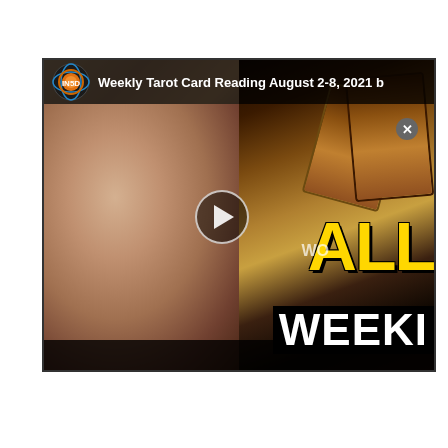[Figure (screenshot): Screenshot of a video thumbnail from IN5D channel titled 'Weekly Tarot Card Reading August 2-8, 2021'. Shows a blonde woman on the left side of the frame and tarot cards on the right side with overlaid text 'ALL' in gold/yellow and 'WEEKI' in white on black. A play button is visible in the center. The IN5D logo (orange/blue globe) is visible in the top left of the video player. A close (x) button appears at the bottom right of the video frame.]